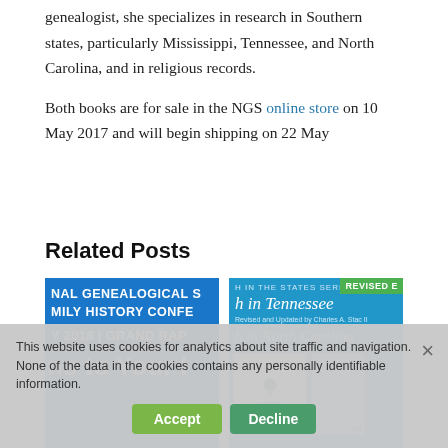genealogist, she specializes in research in Southern states, particularly Mississippi, Tennessee, and North Carolina, and in religious records.
Both books are for sale in the NGS online store on 10 May 2017 and will begin shipping on 22 May
Related Posts
[Figure (photo): NGS Family History Conference 2018 Grand Rapids promotional image, blue background with white text]
[Figure (photo): NGS Research in the States Series - Research in Tennessee and Research in North Carolina book covers with green REVISED badge]
NGS Releases Three Research in States Guide Books
Newly Revised NGS Research in the States for Tennessee and North Carolina
This website uses cookies for analytics about site traffic and navigation. None of the data in the cookies contains any personally identifiable information.